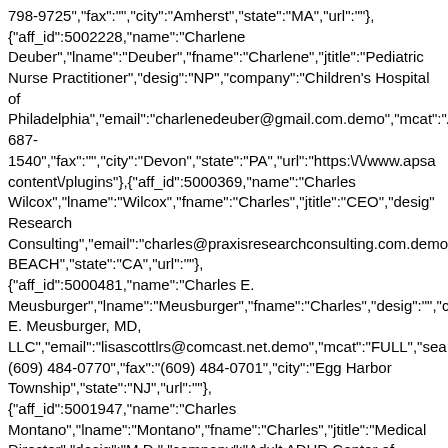798-9725","fax":"","city":"Amherst","state":"MA","url":""}, {"aff_id":5002228,"name":"Charlene Deuber","lname":"Deuber","fname":"Charlene","jtitle":"Pediatric Nurse Practitioner","desig":"NP","company":"Children's Hospital of Philadelphia","email":"charlenedeuber@gmail.com.demo","mcat":"A 687-1540","fax":"","city":"Devon","state":"PA","url":"https:\/\/www.apsa content\/plugins"},{"aff_id":5000369,"name":"Charles Wilcox","lname":"Wilcox","fname":"Charles","jtitle":"CEO","desig" Research Consulting","email":"charles@praxisresearchconsulting.com.demo", BEACH","state":"CA","url":""}, {"aff_id":5000481,"name":"Charles E. Meusburger","lname":"Meusburger","fname":"Charles","desig":"","c E. Meusburger, MD, LLC","email":"lisascottlrs@comcast.net.demo","mcat":"FULL","sea (609) 484-0770","fax":"(609) 484-0701","city":"Egg Harbor Township","state":"NJ","url":""}, {"aff_id":5001947,"name":"Charles Montano","lname":"Montano","fname":"Charles","jtitle":"Medical Director","desig":"M.D.","company":"Adult ADHD Center of CT","email":"docmontano@aol.com.demo","mcat":"FULL","search. 632-0144","fax":"860-632-7882","city":"Cromwell","state":"CT","url":"ctclinicalresearch.com" {"aff_id":5005554,"name":"Charle